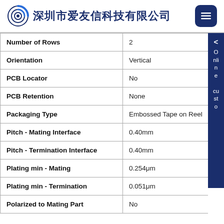深圳市爱友信科技有限公司
| Property | Value |
| --- | --- |
| Number of Rows | 2 |
| Orientation | Vertical |
| PCB Locator | No |
| PCB Retention | None |
| Packaging Type | Embossed Tape on Reel |
| Pitch - Mating Interface | 0.40mm |
| Pitch - Termination Interface | 0.40mm |
| Plating min - Mating | 0.254μm |
| Plating min - Termination | 0.051μm |
| Polarized to Mating Part | No |